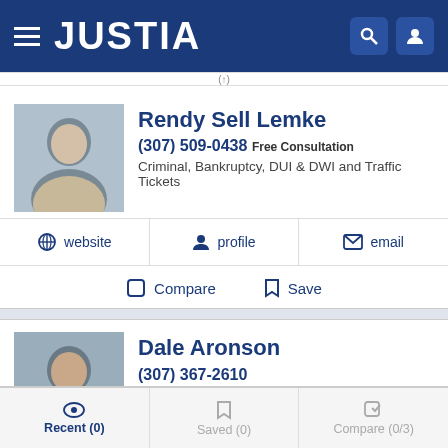JUSTIA
Rendy Sell Lemke
(307) 509-0438 Free Consultation
Criminal, Bankruptcy, DUI & DWI and Traffic Tickets
website  profile  email
Compare  Save
Dale Aronson
(307) 367-2610
Criminal, Personal Injury, Real Estate and Workers' Comp
profile
Recent (0)  Saved (0)  Compare (0/3)